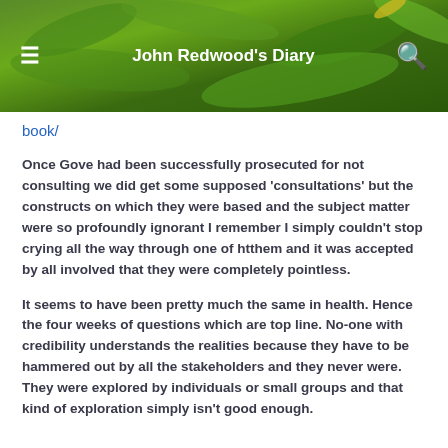John Redwood's Diary
book/
Once Gove had been successfully prosecuted for not consulting we did get some supposed ‘consultations’ but the constructs on which they were based and the subject matter were so profoundly ignorant I remember I simply couldn’t stop crying all the way through one of htthem and it was accepted by all involved that they were completely pointless.
It seems to have been pretty much the same in health. Hence the four weeks of questions which are top line. No-one with credibility understands the realities because they have to be hammered out by all the stakeholders and they never were. They were explored by individuals or small groups and that kind of exploration simply isn’t good enough.